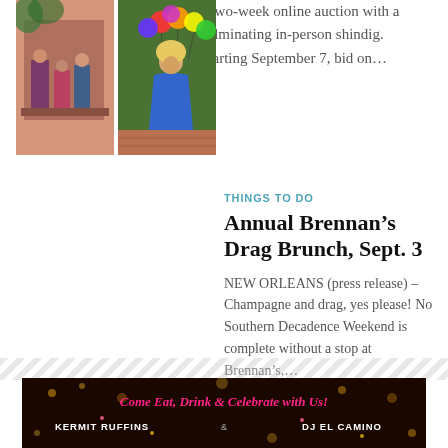a two-week online auction with a culminating in-person shindig. Starting September 7, bid on…
THINGS TO DO
[Figure (photo): Two photos side by side: left shows people on a balcony in colorful costumes, right shows a performer in a blue dress with rainbow balloons in the background]
Annual Brennan's Drag Brunch, Sept. 3
NEW ORLEANS (press release) – Champagne and drag, yes please! No Southern Decadence Weekend is complete without a stop at Brennan's,…
[Figure (infographic): Banner advertisement with dark golden background: 'Come Eat, Drink & Celebrate with Us!' with performers KERMIT RUFFINS and DJ EL CAMINO listed]